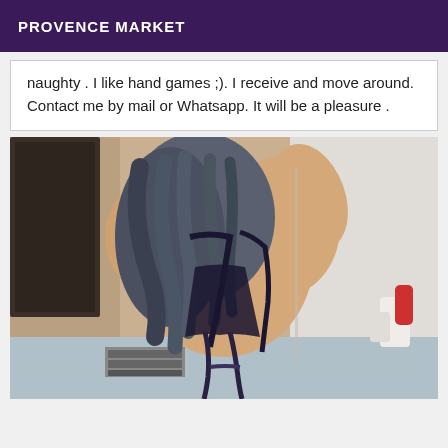PROVENCE MARKET
naughty . I like hand games ;). I receive and move around. Contact me by mail or Whatsapp. It will be a pleasure .
[Figure (photo): Person photographed from behind wearing dark lingerie, with long wavy hair, taking a selfie in a mirror]